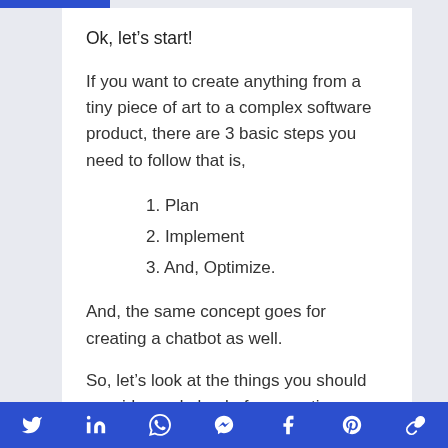Ok, let’s start!
If you want to create anything from a tiny piece of art to a complex software product, there are 3 basic steps you need to follow that is,
1. Plan
2. Implement
3. And, Optimize.
And, the same concept goes for creating a chatbot as well.
So, let’s look at the things you should consider and plan before creating a powerful chatbot, in the next section!